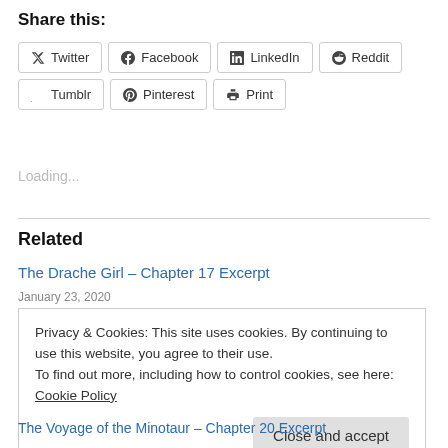Share this:
Twitter  Facebook  LinkedIn  Reddit  Tumblr  Pinterest  Print
Loading...
Related
The Drache Girl – Chapter 17 Excerpt
January 23, 2020
Privacy & Cookies: This site uses cookies. By continuing to use this website, you agree to their use.
To find out more, including how to control cookies, see here: Cookie Policy
Close and accept
The Voyage of the Minotaur – Chapter 20 Excerpt
July 15, 2022